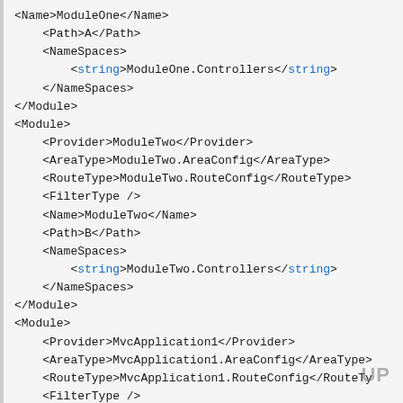XML code snippet showing Module configurations with Provider, AreaType, RouteType, FilterType, Name, Path, and NameSpaces elements for ModuleOne, ModuleTwo, and MvcApplication1 modules